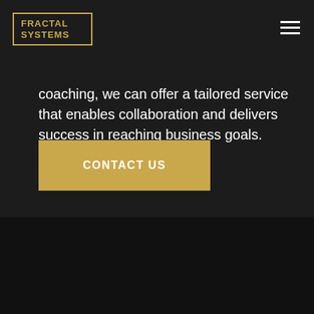[Figure (logo): Fractal Systems logo with gold border and gold text on dark background, top left]
coaching, we can offer a tailored service that enables collaboration and delivers success in reaching business goals.
CONTACT US
[Figure (logo): Fractal Systems logo with gold border and gold text on dark background, footer]
[Figure (other): Google reCAPTCHA badge with Privacy - Terms text]